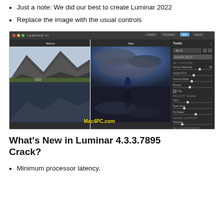Just a note: We did our best to create Luminar 2022
Replace the image with the usual controls
[Figure (screenshot): Screenshot of Luminar AI photo editing software showing a before/after comparison of a landscape photo with a person silhouetted against dramatic sky. The left panel shows a mountain lake scene, the right shows the enhanced version with dramatic sky. Tools panel visible on the right side. Mac4PC.com watermark in yellow.]
What's New in Luminar 4.3.3.7895 Crack?
Minimum processor latency.